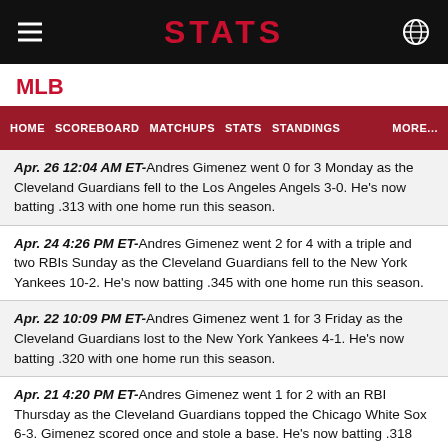STATS
MLB
HOME  SCOREBOARD  MATCHUPS  STATS  STANDINGS  MORE...
Apr. 26 12:04 AM ET-Andres Gimenez went 0 for 3 Monday as the Cleveland Guardians fell to the Los Angeles Angels 3-0. He's now batting .313 with one home run this season.
Apr. 24 4:26 PM ET-Andres Gimenez went 2 for 4 with a triple and two RBIs Sunday as the Cleveland Guardians fell to the New York Yankees 10-2. He's now batting .345 with one home run this season.
Apr. 22 10:09 PM ET-Andres Gimenez went 1 for 3 Friday as the Cleveland Guardians lost to the New York Yankees 4-1. He's now batting .320 with one home run this season.
Apr. 21 4:20 PM ET-Andres Gimenez went 1 for 2 with an RBI Thursday as the Cleveland Guardians topped the Chicago White Sox 6-3. Gimenez scored once and stole a base. He's now batting .318 with one home run this season.
Apr. 20 8:47 PM ET-Andres Gimenez went 1 for 3 Wednesday as the Cleveland Guardians topped the Chicago White Sox 2-1. He's now batting